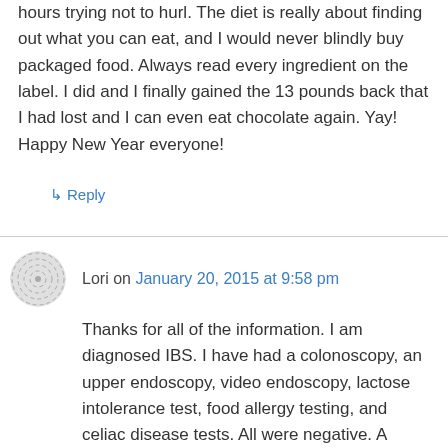hours trying not to hurl. The diet is really about finding out what you can eat, and I would never blindly buy packaged food. Always read every ingredient on the label. I did and I finally gained the 13 pounds back that I had lost and I can even eat chocolate again. Yay! Happy New Year everyone!
↳ Reply
Lori on January 20, 2015 at 9:58 pm
Thanks for all of the information. I am diagnosed IBS. I have had a colonoscopy, an upper endoscopy, video endoscopy, lactose intolerance test, food allergy testing, and celiac disease tests. All were negative. A standard blood test